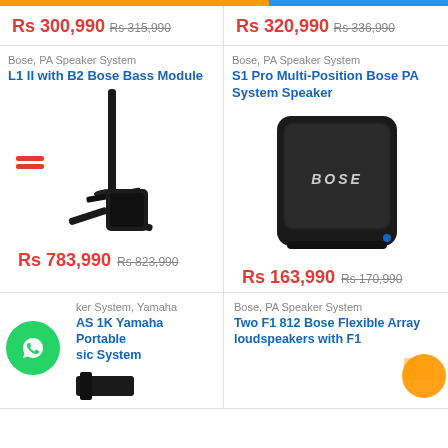Rs 300,990 Rs 315,990
Rs 320,990 Rs 336,990
Bose, PA Speaker System
L1 II with B2 Bose Bass Module
[Figure (photo): Bose L1 II speaker system with B2 bass module - tall black pole speaker with subwoofer base]
Rs 783,990 Rs 823,990
Bose, PA Speaker System
S1 Pro Multi-Position Bose PA System Speaker
[Figure (photo): Bose S1 Pro portable PA speaker - black rectangular speaker with Bose logo]
Rs 163,990 Rs 170,990
PA Speaker System, Yamaha
AS 1K Yamaha Portable Music System
Bose, PA Speaker System
Two F1 812 Bose Flexible Array loudspeakers with F1